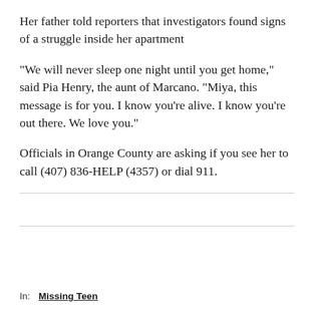Her father told reporters that investigators found signs of a struggle inside her apartment
"We will never sleep one night until you get home," said Pia Henry, the aunt of Marcano. "Miya, this message is for you. I know you're alive. I know you're out there. We love you."
Officials in Orange County are asking if you see her to call (407) 836-HELP (4357) or dial 911.
In:   Missing Teen